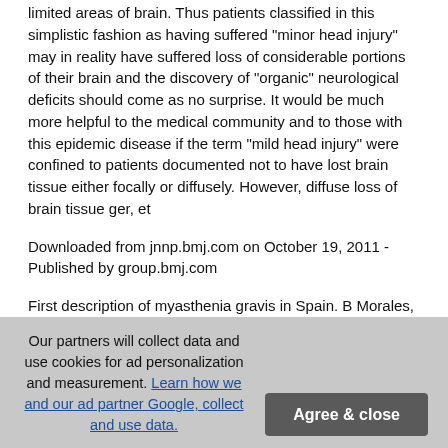limited areas of brain. Thus patients classified in this simplistic fashion as having suffered "minor head injury" may in reality have suffered loss of considerable portions of their brain and the discovery of "organic" neurological deficits should come as no surprise. It would be much more helpful to the medical community and to those with this epidemic disease if the term "mild head injury" were confined to patients documented not to have lost brain tissue either focally or diffusely. However, diffuse loss of brain tissue ger, et
Downloaded from jnnp.bmj.com on October 19, 2011 - Published by group.bmj.com
First description of myasthenia gravis in Spain. B Morales, J F Maestre and P J Garcia Ruiz J Neurol Neurosurg Psychiatry 1991 54: 846
doi: 10.1136/jnnp.54.9.846
Updated information and services can be found at:
Our partners will collect data and use cookies for ad personalization and measurement. Learn how we and our ad partner Google, collect and use data. Agree & close